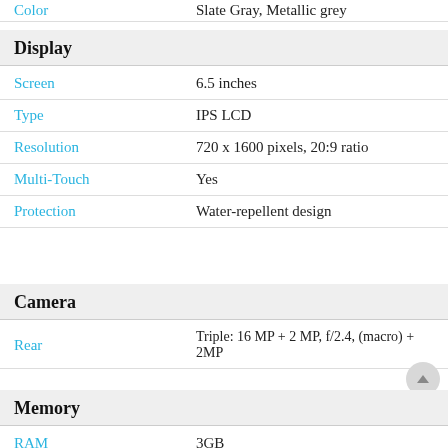| Property | Value |
| --- | --- |
| Color | Slate Gray, Metallic grey |
Display
| Property | Value |
| --- | --- |
| Screen | 6.5 inches |
| Type | IPS LCD |
| Resolution | 720 x 1600 pixels, 20:9 ratio |
| Multi-Touch | Yes |
| Protection | Water-repellent design |
Camera
| Property | Value |
| --- | --- |
| Rear | Triple: 16 MP + 2 MP, f/2.4, (macro) + 2MP |
| Selfie | 8MP |
| Flash | LED |
| Video | 1080p@30fps |
| Features | HDR, panorama |
Memory
| Property | Value |
| --- | --- |
| RAM | 3GB |